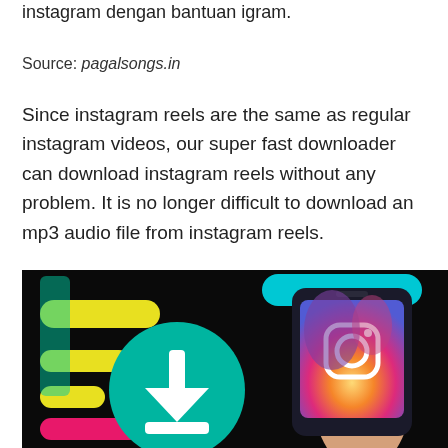instagram dengan bantuan igram.
Source: pagalsongs.in
Since instagram reels are the same as regular instagram videos, our super fast downloader can download instagram reels without any problem. It is no longer difficult to download an mp3 audio file from instagram reels.
[Figure (photo): Promotional image for an Instagram reel downloader tool, showing a teal download icon with a white downward arrow on the left, and a hand holding a smartphone displaying the Instagram logo on the right, against a dark background with colorful accents (yellow, cyan, pink).]